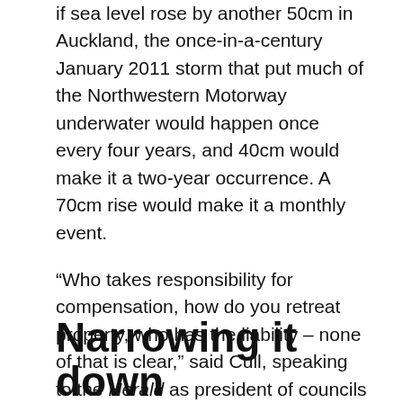if sea level rose by another 50cm in Auckland, the once-in-a-century January 2011 storm that put much of the Northwestern Motorway underwater would happen once every four years, and 40cm would make it a two-year occurrence. A 70cm rise would make it a monthly event.
“Who takes responsibility for compensation, how do you retreat property, who has the liability – none of that is clear,” said Cull, speaking to the Herald as president of councils lobby group Local Government New Zealand (LGNZ).
What policy-makers urgently needed now was better science.
Narrowing it down